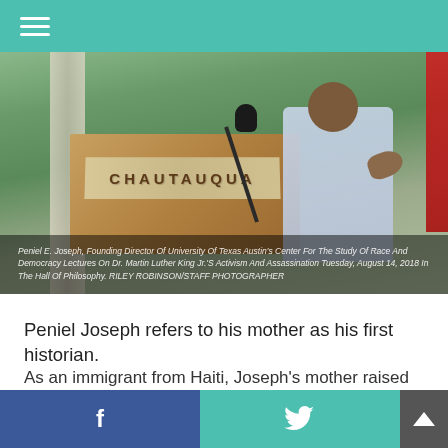Navigation menu
[Figure (photo): Peniel E. Joseph speaking at a Chautauqua podium with a microphone, outdoors, with columns and a red flag visible in the background.]
Peniel E. Joseph, Founding Director Of University Of Texas Austin's Center For The Study Of Race And Democracy Lectures On Dr. Martin Luther King Jr.'S Activism And Assassination Tuesday, August 14, 2018 In The Hall Of Philosophy. RILEY ROBINSON/STAFF PHOTOGRAPHER
Peniel Joseph refers to his mother as his first historian.
As an immigrant from Haiti, Joseph's mother raised him in New York City during the race riots of the 1960s. The city was afire with protests against racism and de facto segregation, but she refused to shield him from the [text continues] him on his first picket line at [text continues] mother, a black feminist, trade [text continues]
f  t  [scroll to top]